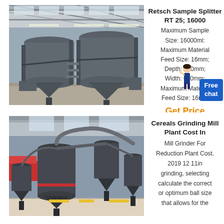[Figure (photo): Industrial facility interior showing large cylindrical silos/tanks elevated on steel supports inside a warehouse structure]
Retsch Sample Splitter RT 25; 16000
Maximum Sample Size: 16000ml: Maximum Material Feed Size: 16mm; Depth: 420mm; Width: 620mm; Maximum Material Feed Size: 16mm
Get Price
[Figure (photo): Industrial grinding mill plant with large vertical mills, cyclones and conveyors inside a factory building]
Cereals Grinding Mill Plant Cost In
Mill Grinder For Reduction Plant Cost. 2019 12 11in grinding, selecting calculate the correct or optimum ball size that allows for the